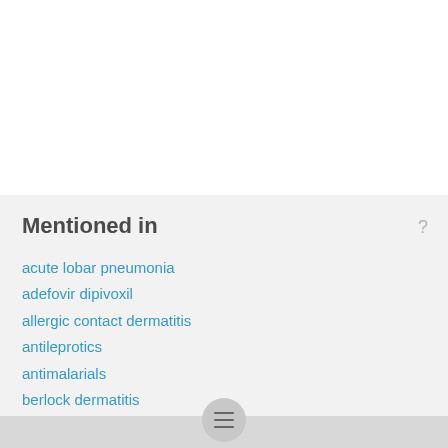Mentioned in
acute lobar pneumonia
adefovir dipivoxil
allergic contact dermatitis
antileprotics
antimalarials
berlock dermatitis
Bilirubin and Bilirubin Fractions
Bites and Stings
co-trimoxazole